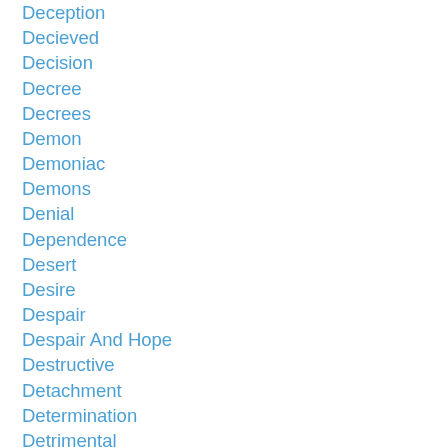Deception
Decieved
Decision
Decree
Decrees
Demon
Demoniac
Demons
Denial
Dependence
Desert
Desire
Despair
Despair And Hope
Destructive
Detachment
Determination
Detrimental
Devil
Devotion To Sacred Heart
Difficulties